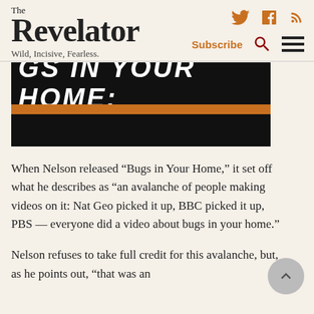The Revelator — Wild, Incisive, Fearless.
[Figure (screenshot): Partial banner image with bold white italic text reading 'GS IN YOUR HOME:' on black background with an orange stripe below]
When Nelson released “Bugs in Your Home,” it set off what he describes as “an avalanche of people making videos on it: Nat Geo picked it up, BBC picked it up, PBS — everyone did a video about bugs in your home.”
Nelson refuses to take full credit for this avalanche, but, as he points out, “that was an